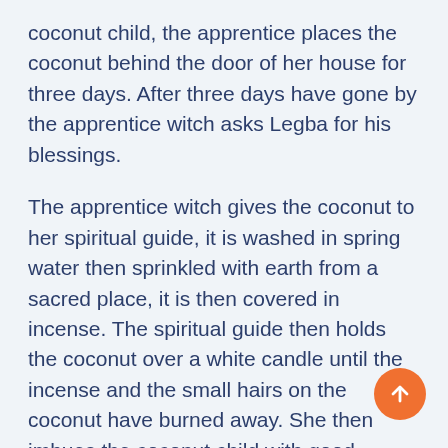coconut child, the apprentice places the coconut behind the door of her house for three days. After three days have gone by the apprentice witch asks Legba for his blessings.
The apprentice witch gives the coconut to her spiritual guide, it is washed in spring water then sprinkled with earth from a sacred place, it is then covered in incense. The spiritual guide then holds the coconut over a white candle until the incense and the small hairs on the coconut have burned away. She then imbues the coconut child with good wishes and the requests of the apprentice witch. On three successive days the requests and wishes are repeated in front of a white candle and a glass of water. The coconut child is the...